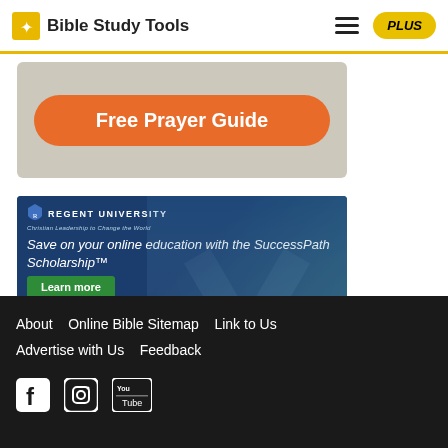Bible Study Tools | PLUS
[Figure (illustration): Free Prayer Guide orange rounded button advertisement on gray background]
[Figure (illustration): Regent University advertisement: Save on your online education with the SuccessPath Scholarship™ — Learn more button]
About | Online Bible Sitemap | Link to Us | Advertise with Us | Feedback — Facebook, Instagram, YouTube icons